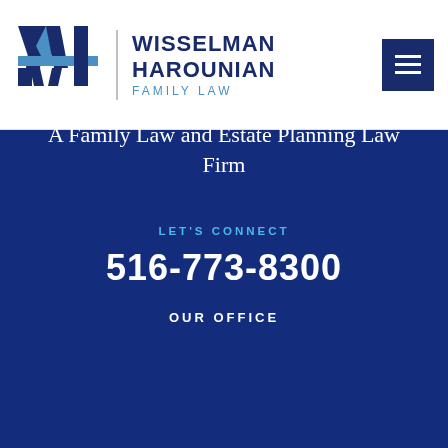[Figure (logo): Wisselman Harounian Family Law logo with WH monogram in blue and a vertical divider, firm name in dark navy with FAMILY LAW subtitle in light blue]
A Family Law and Estate Planning Law Firm
LET'S CONNECT
516-773-8300
OUR OFFICE